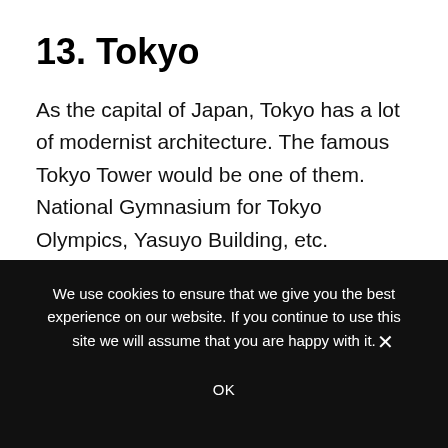13. Tokyo
As the capital of Japan, Tokyo has a lot of modernist architecture. The famous Tokyo Tower would be one of them. National Gymnasium for Tokyo Olympics, Yasuyo Building, etc. Numerous breath-taking architectures are waiting for you to discover!
We use cookies to ensure that we give you the best experience on our website. If you continue to use this site we will assume that you are happy with it.
OK